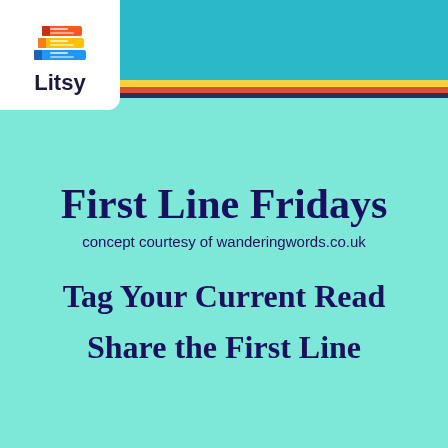[Figure (screenshot): Litsy app interface screenshot showing a navigation bar with the Litsy logo (stacked colorful books) and navigation icons (home, search, add, lightning, profile), color stripes (yellow, red, dark blue), and a teal/mint background with lightning bolt pattern containing promotional text for 'First Line Fridays' with subtitle 'concept courtesy of wanderingwords.co.uk', 'Tag Your Current Read', and 'Share the First Line']
First Line Fridays
concept courtesy of wanderingwords.co.uk
Tag Your Current Read
Share the First Line